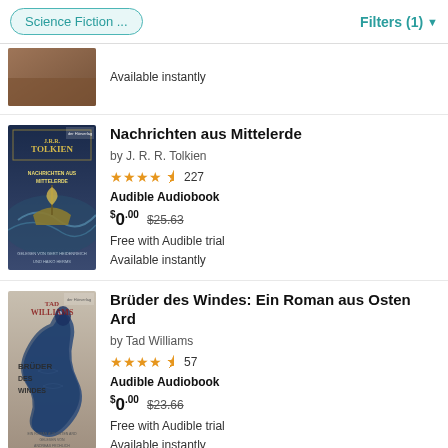Science Fiction ...   Filters (1)
Available instantly
Nachrichten aus Mittelerde
by J. R. R. Tolkien
★★★★★½ 227
Audible Audiobook
$0.00  $25.63
Free with Audible trial
Available instantly
Brüder des Windes: Ein Roman aus Osten Ard
by Tad Williams
★★★★★½ 57
Audible Audiobook
$0.00  $23.66
Free with Audible trial
Available instantly